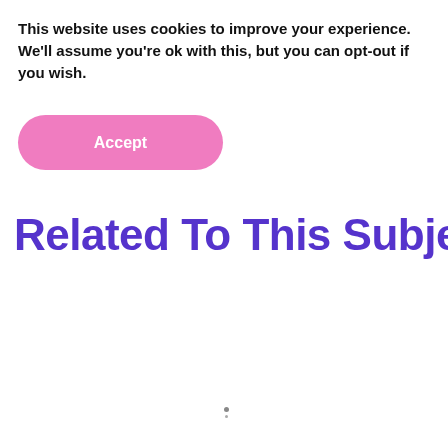This website uses cookies to improve your experience. We'll assume you're ok with this, but you can opt-out if you wish.
[Figure (other): Pink rounded button with white text reading 'Accept']
Related To This Subject